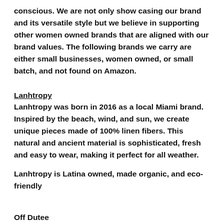conscious. We are not only show casing our brand and its versatile style but we believe in supporting other women owned brands that are aligned with our brand values. The following brands we carry are either small businesses, women owned, or small batch, and not found on Amazon.
Lanhtropy
Lanhtropy was born in 2016 as a local Miami brand. Inspired by the beach, wind, and sun, we create unique pieces made of 100% linen fibers. This natural and ancient material is sophisticated, fresh and easy to wear, making it perfect for all weather.
Lanhtropy is Latina owned, made organic, and eco-friendly
Off Dutee